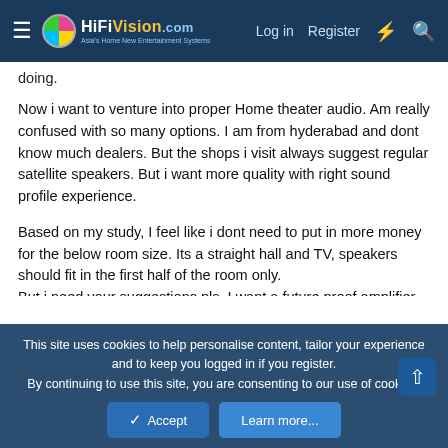HiFiVision.com — Log in | Register
doing.
Now i want to venture into proper Home theater audio. Am really confused with so many options. I am from hyderabad and dont know much dealers. But the shops i visit always suggest regular satellite speakers. But i want more quality with right sound profile experience.
Based on my study, I feel like i dont need to put in more money for the below room size. Its a straight hall and TV, speakers should fit in the first half of the room only.
But i need your suggestions pls. I want a future proof amplifier and hence looking towards Denon X2700H or Marantz SR5015 or SR6015 based on best prices. Not sure if its too much high considering the room size. But i dont want to change the
This site uses cookies to help personalise content, tailor your experience and to keep you logged in if you register.
By continuing to use this site, you are consenting to our use of cookies.